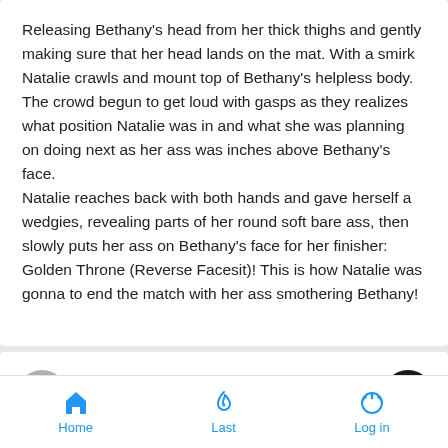Releasing Bethany's head from her thick thighs and gently making sure that her head lands on the mat. With a smirk Natalie crawls and mount top of Bethany's helpless body. The crowd begun to get loud with gasps as they realizes what position Natalie was in and what she was planning on doing next as her ass was inches above Bethany's face.
Natalie reaches back with both hands and gave herself a wedgies, revealing parts of her round soft bare ass, then slowly puts her ass on Bethany's face for her finisher: Golden Throne (Reverse Facesit)! This is how Natalie was gonna to end the match with her ass smothering Bethany!
by Sponsored content
Home  Last  Log in